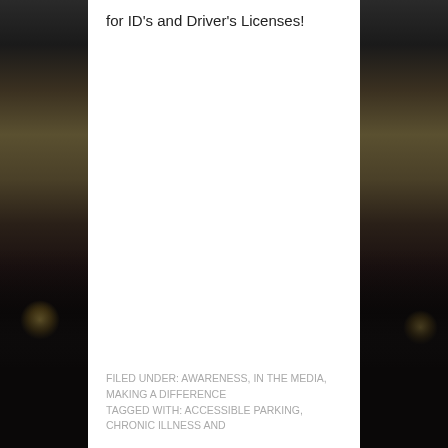for ID's and Driver's Licenses!
FILED UNDER: AWARENESS, IN THE MEDIA, MAKING A DIFFERENCE
TAGGED WITH: ACCESSIBLE PARKING, CHRONIC ILLNESS AND